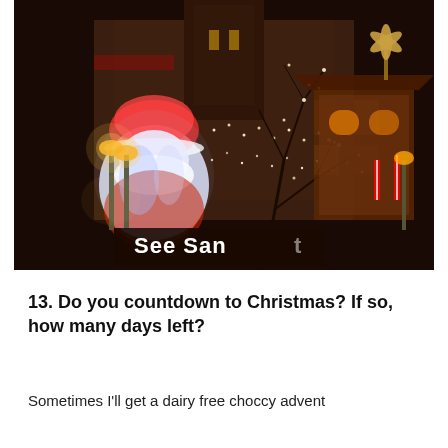[Figure (photo): Nighttime photo of a Christmas market scene outside a large historic stone building (likely Manchester Town Hall). A large illuminated Santa Claus figure made of lights is visible on the left, with a sign reading 'See Santa'. On the right is a Christmas market stall structure with fairy lights and a windmill decoration on top. Bare tree branches strung with lights fill the center-right. Streetlamps glow warmly.]
13. Do you countdown to Christmas? If so, how many days left?
Sometimes I'll get a dairy free choccy advent